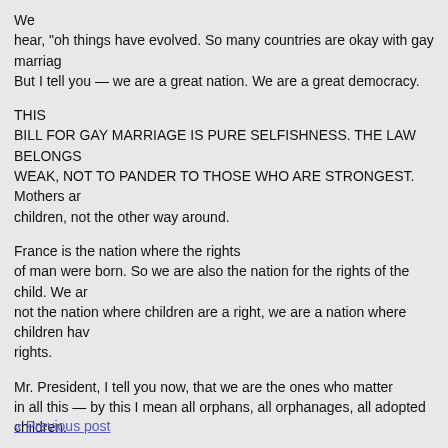We hear, "oh things have evolved. So many countries are okay with gay marriage. But I tell you — we are a great nation. We are a great democracy.
THIS BILL FOR GAY MARRIAGE IS PURE SELFISHNESS. THE LAW BELONGS TO THE WEAK, NOT TO PANDER TO THOSE WHO ARE STRONGEST. Mothers are made for children, not the other way around.
France is the nation where the rights of man were born. So we are also the nation for the rights of the child. We are not the nation where children are a right, we are a nation where children have rights.
Mr. President, I tell you now, that we are the ones who matter in all this — by this I mean all orphans, all orphanages, all adopted children.
Thank you all for mobilizing.
« Previous post